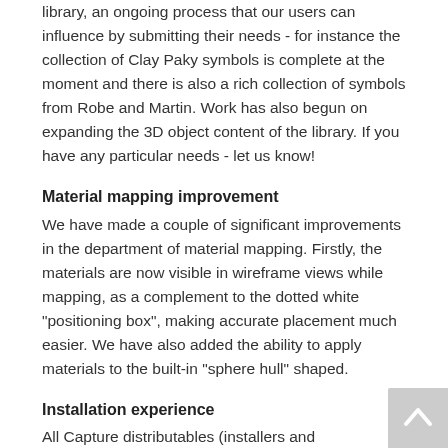library, an ongoing process that our users can influence by submitting their needs - for instance the collection of Clay Paky symbols is complete at the moment and there is also a rich collection of symbols from Robe and Martin. Work has also begun on expanding the 3D object content of the library. If you have any particular needs - let us know!
Material mapping improvement
We have made a couple of significant improvements in the department of material mapping. Firstly, the materials are now visible in wireframe views while mapping, as a complement to the dotted white "positioning box", making accurate placement much easier. We have also added the ability to apply materials to the built-in "sphere hull" shaped.
Installation experience
All Capture distributables (installers and applications) have